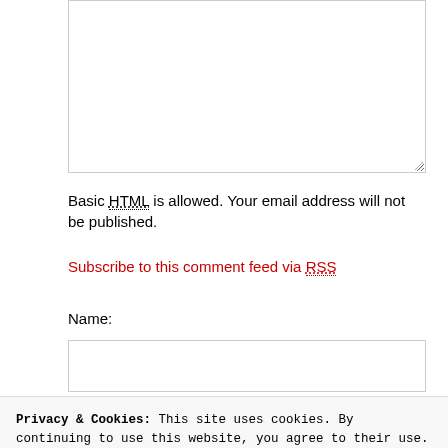[Figure (screenshot): Textarea input box (empty, resizable) for comment entry]
Basic HTML is allowed. Your email address will not be published.
Subscribe to this comment feed via RSS
Name:
[Figure (screenshot): Text input field for Name]
Privacy & Cookies: This site uses cookies. By continuing to use this website, you agree to their use.
To find out more, including how to control cookies, see here: Cookie Policy
Close and accept